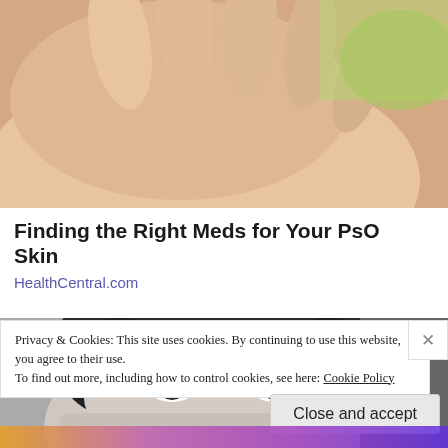[Figure (photo): Close-up photo of a hand with palm facing up, against a green background]
Finding the Right Meds for Your PsO Skin
HealthCentral.com
[Figure (photo): Black and white photo of a woman's face with dark curly hair, eyes visible above folded arms]
Privacy & Cookies: This site uses cookies. By continuing to use this website, you agree to their use.
To find out more, including how to control cookies, see here: Cookie Policy
Close and accept